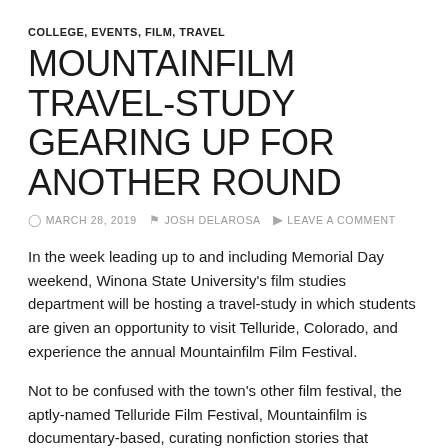COLLEGE, EVENTS, FILM, TRAVEL
MOUNTAINFILM TRAVEL-STUDY GEARING UP FOR ANOTHER ROUND
MARCH 28, 2019   JOSH DELAROSA   LEAVE A COMMENT
In the week leading up to and including Memorial Day weekend, Winona State University's film studies department will be hosting a travel-study in which students are given an opportunity to visit Telluride, Colorado, and experience the annual Mountainfilm Film Festival.
Not to be confused with the town's other film festival, the aptly-named Telluride Film Festival, Mountainfilm is documentary-based, curating nonfiction stories that explore topics like the environment, culture, recreation, political and social justice issues and more.